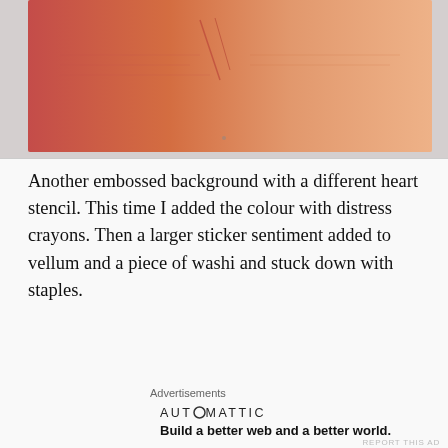[Figure (photo): Top portion of a photo showing an embossed background with pinkish-red and orange hues, with a heart stencil texture visible on what appears to be a card or paper surface.]
Another embossed background with a different heart stencil. This time I added the colour with distress crayons. Then a larger sticker sentiment added to vellum and a piece of washi and stuck down with staples.
Advertisements
[Figure (logo): Automattic advertisement. Logo reads 'AUTOMATTIC' with a circular icon replacing one letter. Tagline: 'Build a better web and a better world.']
Another Alpaca Pals stamp with the cute doodled text hearts. Simple. Stamped on the Melon Mambo card and
Advertisements
[Figure (screenshot): Jetpack advertisement banner on a green background. Shows Jetpack logo (lightning bolt icon) on the left and a white button reading 'Back up your site' on the right.]